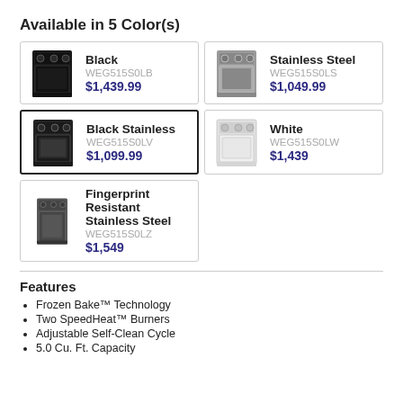Available in 5 Color(s)
Black
WEG515S0LB
$1,439.99
Stainless Steel
WEG515S0LS
$1,049.99
Black Stainless
WEG515S0LV
$1,099.99
White
WEG515S0LW
$1,439
Fingerprint Resistant Stainless Steel
WEG515S0LZ
$1,549
Features
Frozen Bake™ Technology
Two SpeedHeat™ Burners
Adjustable Self-Clean Cycle
5.0 Cu. Ft. Capacity